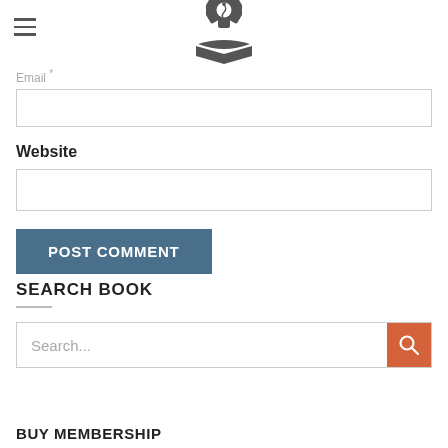[Figure (logo): Medical/EMS star of life logo with book and snake symbol, dark gray]
Email *
Website
POST COMMENT
SEARCH BOOK
Search...
BUY MEMBERSHIP